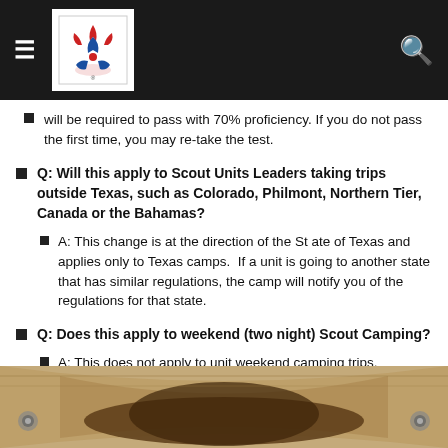Boy Scouts of America website header
will be required to pass with 70% proficiency. If you do not pass the first time, you may re-take the test.
Q: Will this apply to Scout Units Leaders taking trips outside Texas, such as Colorado, Philmont, Northern Tier, Canada or the Bahamas?
A: This change is at the direction of the St ate of Texas and applies only to Texas camps.  If a unit is going to another state that has similar regulations, the camp will notify you of the regulations for that state.
Q: Does this apply to weekend (two night) Scout Camping?
A: This does not apply to unit weekend camping trips.
[Figure (photo): Partial view of a scouting-related banner or hat at the bottom of the page]